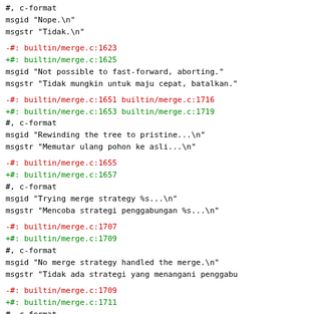#, c-format
 msgid "Nope.\n"
 msgstr "Tidak.\n"
-#: builtin/merge.c:1623
+#: builtin/merge.c:1625
 msgid "Not possible to fast-forward, aborting."
 msgstr "Tidak mungkin untuk maju cepat, batalkan."
-#: builtin/merge.c:1651 builtin/merge.c:1716
+#: builtin/merge.c:1653 builtin/merge.c:1719
 #, c-format
 msgid "Rewinding the tree to pristine...\n"
 msgstr "Memutar ulang pohon ke asli...\n"
-#: builtin/merge.c:1655
+#: builtin/merge.c:1657
 #, c-format
 msgid "Trying merge strategy %s...\n"
 msgstr "Mencoba strategi penggabungan %s...\n"
-#: builtin/merge.c:1707
+#: builtin/merge.c:1709
 #, c-format
 msgid "No merge strategy handled the merge.\n"
 msgstr "Tidak ada strategi yang menangani penggabu
-#: builtin/merge.c:1709
+#: builtin/merge.c:1711
 #, c-format
 msgid "Merge with strategy %s failed.\n"